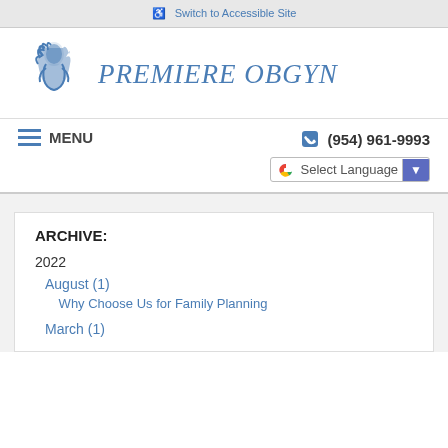Switch to Accessible Site
[Figure (logo): Premiere OBGYN logo with illustrated figure and cursive text]
MENU
(954) 961-9993
Select Language
ARCHIVE:
2022
August (1)
Why Choose Us for Family Planning
March (1)